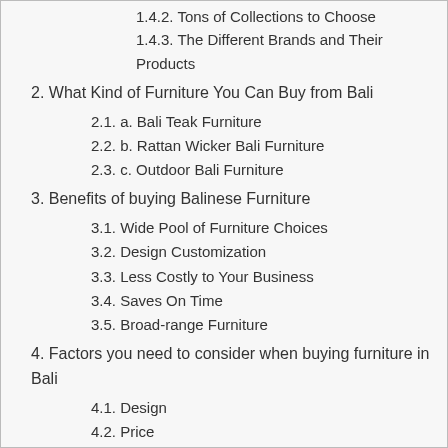1.4.2. Tons of Collections to Choose
1.4.3. The Different Brands and Their Products
2. What Kind of Furniture You Can Buy from Bali
2.1. a. Bali Teak Furniture
2.2. b. Rattan Wicker Bali Furniture
2.3. c. Outdoor Bali Furniture
3. Benefits of buying Balinese Furniture
3.1. Wide Pool of Furniture Choices
3.2. Design Customization
3.3. Less Costly to Your Business
3.4. Saves On Time
3.5. Broad-range Furniture
4. Factors you need to consider when buying furniture in Bali
4.1. Design
4.2. Price
4.3. Quality – Durability
4.4. Color and Pattern Furniture
4.5. Type of Materials